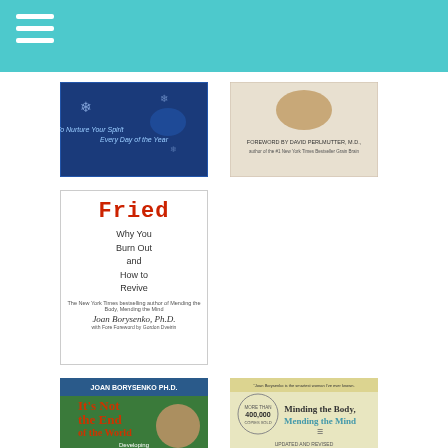Navigation menu with teal header bar
[Figure (illustration): Book cover - blue background, text 'To Nurture Your Spirit Every Day of the Year']
[Figure (illustration): Book cover - light background, Foreword by David Perlmutter M.D., author of the #1 New York Times Bestseller Grain Brain]
[Figure (illustration): Book cover - Fried: Why You Burn Out and How to Revive by Joan Borysenko Ph.D. with foreword by Gordon Dveirin]
[Figure (illustration): Book cover - It's Not the End of the World: Developing Resilience by Joan Borysenko Ph.D.]
[Figure (illustration): Book cover - Minding the Body, Mending the Mind by Joan Borysenko, More than 400,000 copies sold, Updated and Revised]